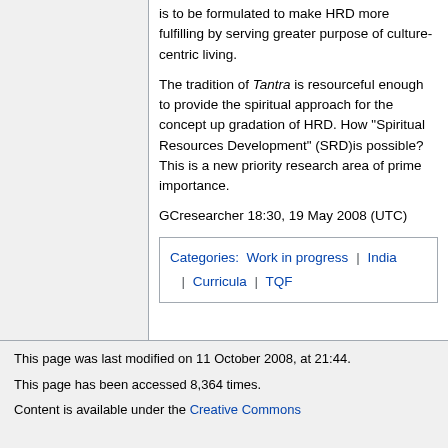is to be formulated to make HRD more fulfilling by serving greater purpose of culture-centric living.
The tradition of Tantra is resourceful enough to provide the spiritual approach for the concept up gradation of HRD. How "Spiritual Resources Development" (SRD)is possible? This is a new priority research area of prime importance.
GCresearcher 18:30, 19 May 2008 (UTC)
Categories: Work in progress | India | Curricula | TQF
This page was last modified on 11 October 2008, at 21:44.
This page has been accessed 8,364 times.
Content is available under the Creative Commons Attribution Share Alike license unless otherwise noted.